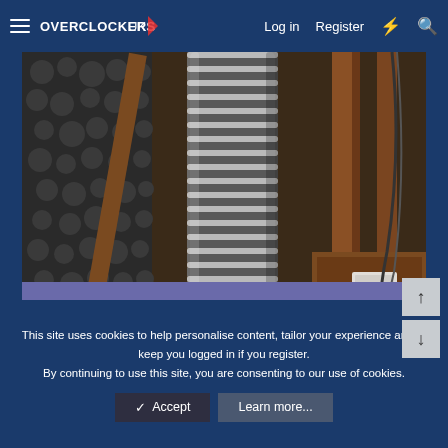Overclockers UK — Log in  Register
[Figure (photo): A flexible corrugated metal duct/pipe running vertically through a loft/attic space, surrounded by wooden joists, loose insulation material, and cabling visible in the background.]
This site uses cookies to help personalise content, tailor your experience and to keep you logged in if you register.
By continuing to use this site, you are consenting to our use of cookies.
✓ Accept   Learn more...